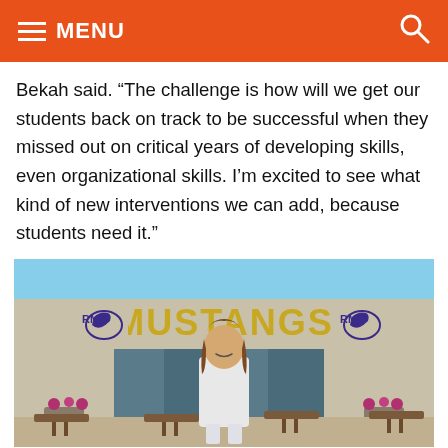MENU
Bekah said. “The challenge is how will we get our students back on track to be successful when they missed out on critical years of developing skills, even organizational skills. I’m excited to see what kind of new interventions we can add, because students need it.”
[Figure (photo): A young woman standing in front of a school building with 'MUSTANGS' signage and RM mascot logos on the wall. Outdoor patio area with tables visible.]